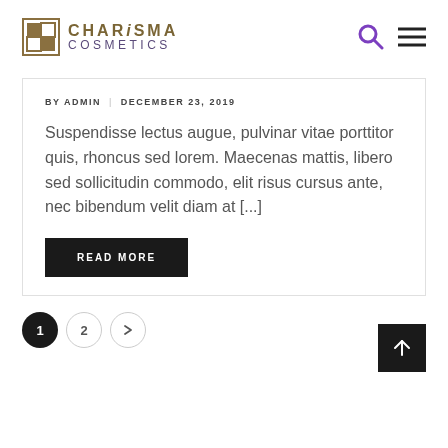CHARISMA COSMETICS
BY ADMIN | DECEMBER 23, 2019
Suspendisse lectus augue, pulvinar vitae porttitor quis, rhoncus sed lorem. Maecenas mattis, libero sed sollicitudin commodo, elit risus cursus ante, nec bibendum velit diam at [...]
READ MORE
1 2 →